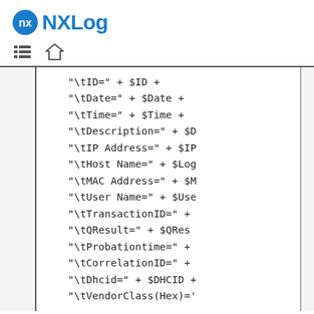NXLog
"\tID=" + $ID +
"\tDate=" + $Date +
"\tTime=" + $Time +
"\tDescription=" + $D
"\tIP Address=" + $IP
"\tHost Name=" + $Log
"\tMAC Address=" + $M
"\tUser Name=" + $Use
"\tTransactionID=" +
"\tQResult=" + $QRes
"\tProbationtime=" +
"\tCorrelationID=" +
"\tDhcid=" + $DHCID +
"\tVendorClass(Hex)='